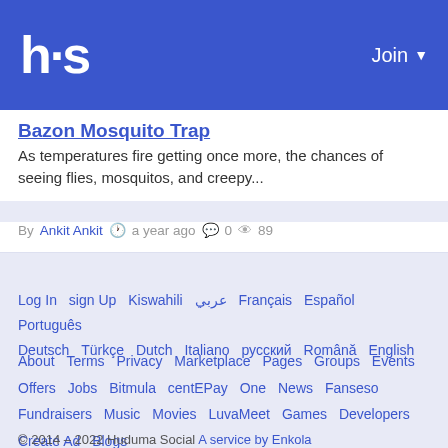hs   Join ▼
Bazon Mosquito Trap
As temperatures fire getting once more, the chances of seeing flies, mosquitos, and creepy...
By Ankit Ankit  a year ago  0  89
Log In  sign Up  Kiswahili  عربي  Français  Español  Português  Deutsch  Türkçe  Dutch  Italiano  русский  Română  English
About  Terms  Privacy  Marketplace  Pages  Groups  Events  Offers  Jobs  Bitmula  centEPay  One  News  Fanseso  Fundraisers  Music  Movies  LuvaMeet  Games  Developers  Create Ad  Blogs
© 2014 – 2022 Huduma Social A service by Enkola